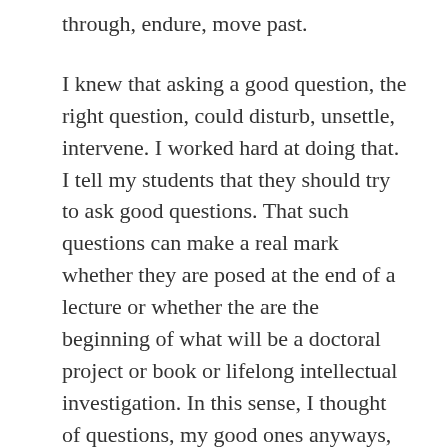through, endure, move past.
I knew that asking a good question, the right question, could disturb, unsettle, intervene. I worked hard at doing that. I tell my students that they should try to ask good questions. That such questions can make a real mark whether they are posed at the end of a lecture or whether the are the beginning of what will be a doctoral project or book or lifelong intellectual investigation. In this sense, I thought of questions, my good ones anyways, as something unambiguously good. And if they unsettled or disturbed people or fields of study, then good.
But I never stopped to think that such questions exact a cost and demand that a burden be borne.